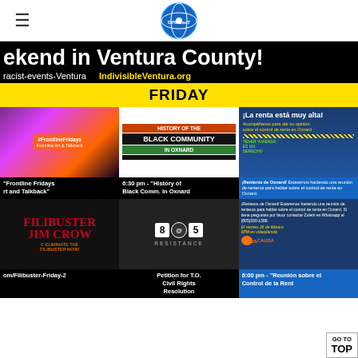≡  [DPMCasT logo]
[Figure (infographic): Anti-racist weekend events flyer for Ventura County. Black background banner reading 'ekend in Ventura County!' with URLs 'racist-events-Ventura' and 'IndivisibleVentura.org'. Yellow FRIDAY bar. Grid of 6 event panels: Frontline Fridays art and talkback; History of the Black Community in Oxnard (6:30 pm); La renta está muy alta (rent control meeting); Filibuster Jim Crow; 805 Resistance petition for T.O. Civil Rights Resolution; Reunión sobre el Control de la Renta 6:00 pm. GO TO TOP button in bottom-right corner.]